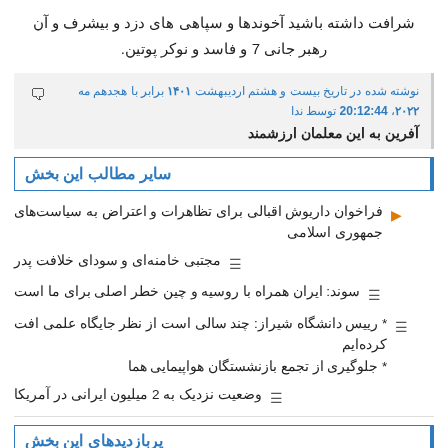شرافت داشته باشید آخوندها و سپاهی های دزد و بیشرف و آن رهبر جانی 7 و فاسد و نوکر پوتین.
نوشته شده در تاریخ بیست و هشتم اردیبهشت ۱۴۰۱ برابر با هجدهم مه ۲۰۲۲، 20:12:44 توسط ندا
آفرین به این معلمان ارزشمند
سایر مطالب این بخش
فراخوان داریوش اقبالی برای تظاهرات و اعتراض به سیاست‌های جمهوری اسلامی
مجتبی خامنه‌ای و سودای خلافت پدر
سوند: ایران همراه با روسیه و چین خطر اصلی برای ما است
* رییس دانشگاه شیراز: چند سالی است از نظر جایگاه علمی افت کرده‌ایم
* جلوگیری از تجمع بازنشستگان هواپیمایی هما
وضعیت نزدیک به 2 میلیون ایرانی در آمریکا
پربازدیدهای این بخش
وضعیت نزدیک به 2 میلیون ایرانی در آمریکا